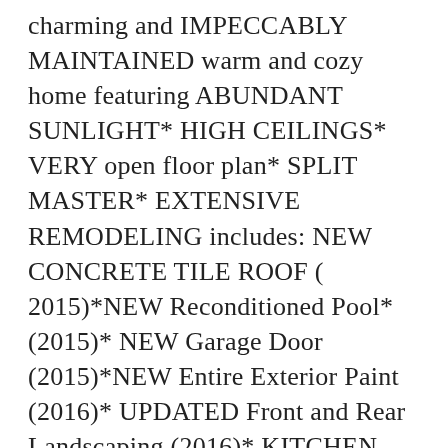charming and IMPECCABLY MAINTAINED warm and cozy home featuring ABUNDANT SUNLIGHT* HIGH CEILINGS* VERY open floor plan* SPLIT MASTER* EXTENSIVE REMODELING includes: NEW CONCRETE TILE ROOF ( 2015)*NEW Reconditioned Pool* (2015)* NEW Garage Door (2015)*NEW Entire Exterior Paint (2016)* UPDATED Front and Rear Landscaping (2016)* KITCHEN featuring Ample Cabinetry and Counter Space* Breakfast Bar * GRANITE COUNTERS in Both Kitchen and Bathrooms* Your backyard is SERENE and PEACEFUL to enjoy your imacculate Pool and Spa with GORGEOUS VIEWS of the McDowell Mtrs* Home BACKS TO walking and